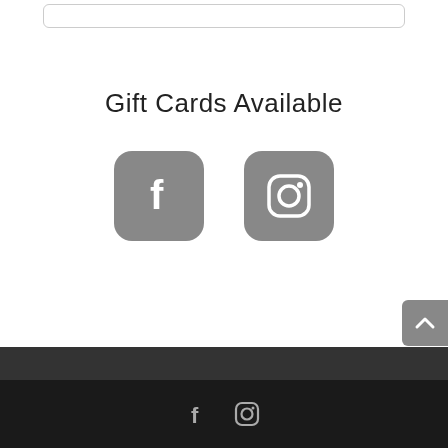Gift Cards Available
[Figure (illustration): Two social media icon buttons with rounded square gray backgrounds: Facebook (f) logo and Instagram camera logo]
[Figure (illustration): Gray rounded rectangle scroll-to-top button with upward chevron arrow]
Shop Now   Contact Us   Repurpose Candles   Refill Candles   Reviews   Refund Policy
[Figure (illustration): Dark footer bar with small Facebook and Instagram icons]